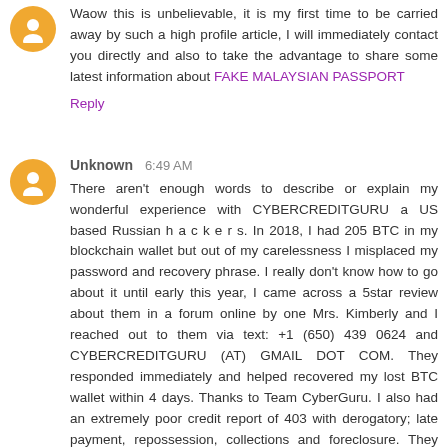Waow this is unbelievable, it is my first time to be carried away by such a high profile article, I will immediately contact you directly and also to take the advantage to share some latest information about FAKE MALAYSIAN PASSPORT
Reply
Unknown 6:49 AM
There aren't enough words to describe or explain my wonderful experience with CYBERCREDITGURU a US based Russian h a c k e r s. In 2018, I had 205 BTC in my blockchain wallet but out of my carelessness I misplaced my password and recovery phrase. I really don't know how to go about it until early this year, I came across a 5star review about them in a forum online by one Mrs. Kimberly and I reached out to them via text: +1 (650) 439 0624 and CYBERCREDITGURU (AT) GMAIL DOT COM. They responded immediately and helped recovered my lost BTC wallet within 4 days. Thanks to Team CyberGuru. I also had an extremely poor credit report of 403 with derogatory; late payment, repossession, collections and foreclosure. They also cleared all negative items from my credit report and upgraded my FICO score to 810 across all three major bureaus. Now with no doubts I can say 2022 is a great year for me as I am a proud owner of a new house and a car. All thanks to